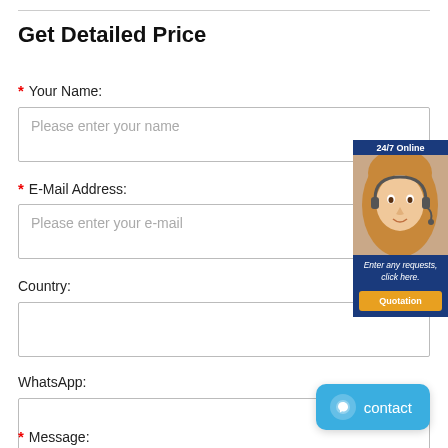Get Detailed Price
* Your Name:
Please enter your name
* E-Mail Address:
Please enter your e-mail
Country:
WhatsApp:
[Figure (illustration): 24/7 Online customer service chat widget with a female agent wearing a headset, dark blue background, orange quotation button, and text 'Enter any requests, click here. Quotation']
* Message:
[Figure (illustration): Blue contact button with chat bubble icon and 'contact' text]